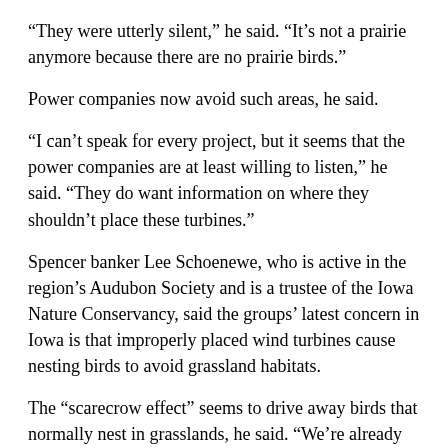“They were utterly silent,” he said. “It’s not a prairie anymore because there are no prairie birds.”
Power companies now avoid such areas, he said.
“I can’t speak for every project, but it seems that the power companies are at least willing to listen,” he said. “They do want information on where they shouldn’t place these turbines.”
Spencer banker Lee Schoenewe, who is active in the region’s Audubon Society and is a trustee of the Iowa Nature Conservancy, said the groups’ latest concern in Iowa is that improperly placed wind turbines cause nesting birds to avoid grassland habitats.
The “scarecrow effect” seems to drive away birds that normally nest in grasslands, he said. “We’re already in a position where temperate grasslands are one of the most endangered ecosystems in the world, especially in the central U.S. where the wind blows.”